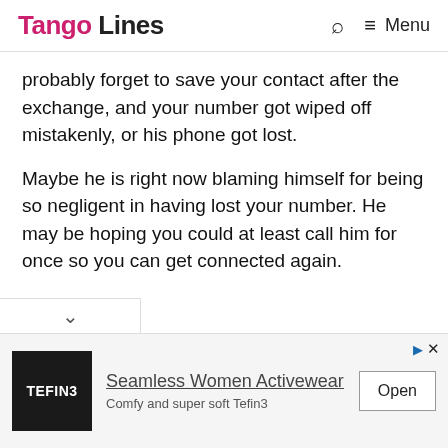Tango Lines — Search — Menu
probably forget to save your contact after the exchange, and your number got wiped off mistakenly, or his phone got lost.
Maybe he is right now blaming himself for being so negligent in having lost your number. He may be hoping you could at least call him for once so you can get connected again.
[Figure (other): Advertisement banner for Tefin3 Seamless Women Activewear with Open button]